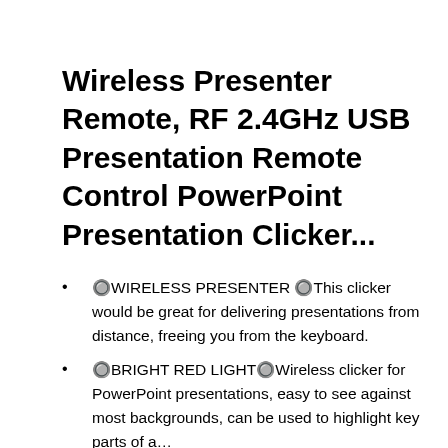Wireless Presenter Remote, RF 2.4GHz USB Presentation Remote Control PowerPoint Presentation Clicker...
🔘WIRELESS PRESENTER 🔘This clicker would be great for delivering presentations from distance, freeing you from the keyboard.
🔘BRIGHT RED LIGHT🔘Wireless clicker for PowerPoint presentations, easy to see against most backgrounds, can be used to highlight key parts of a…
🔘ERGONOMIC DESIGN🔘This PowerPoint clicker is...